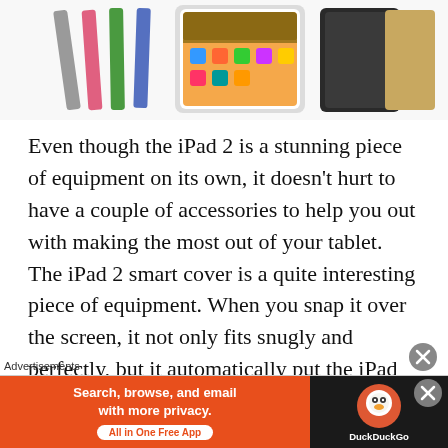[Figure (photo): iPad 2 shown with multiple Smart Cover accessories in various colors (gray, pink, green, blue) alongside the iPad 2 device itself and another dark-colored cover variant.]
Even though the iPad 2 is a stunning piece of equipment on its own, it doesn’t hurt to have a couple of accessories to help you out with making the most out of your tablet. The iPad 2 smart cover is a quite interesting piece of equipment. When you snap it over the screen, it not only fits snugly and perfectly, but it automatically put the iPad into sleep mode. The cover can also be folded into a stand so you can sit back and watch a movie or even if you just want that extra bit of elevation. The Smart Cover
Advertisements
[Figure (screenshot): DuckDuckGo advertisement banner. Left side orange background with text: 'Search, browse, and email with more privacy. All in One Free App'. Right side dark background with DuckDuckGo logo and name.]